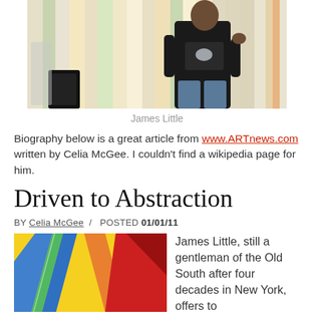[Figure (photo): A person standing in front of colorful vertical stripe artwork, wearing dark jacket and jeans]
James Little
Biography below is a great article from www.ARTnews.com written by Celia McGee.  I couldn't find a wikipedia page for him.
Driven to Abstraction
BY Celia McGee / POSTED 01/01/11
[Figure (photo): Abstract painting with bold colorful vertical and diagonal stripes in red, blue, yellow, green, and orange]
James Little, still a gentleman of the Old South after four decades in New York, offers to